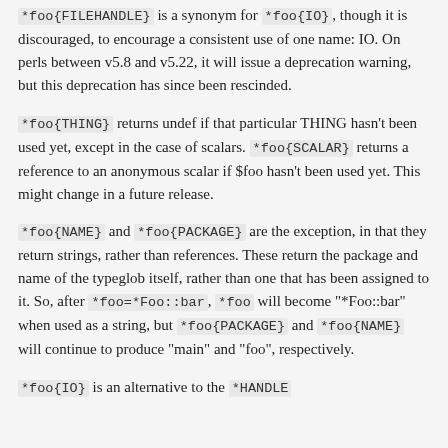*foo{FILEHANDLE} is a synonym for *foo{IO}, though it is discouraged, to encourage a consistent use of one name: IO. On perls between v5.8 and v5.22, it will issue a deprecation warning, but this deprecation has since been rescinded.
*foo{THING} returns undef if that particular THING hasn't been used yet, except in the case of scalars. *foo{SCALAR} returns a reference to an anonymous scalar if $foo hasn't been used yet. This might change in a future release.
*foo{NAME} and *foo{PACKAGE} are the exception, in that they return strings, rather than references. These return the package and name of the typeglob itself, rather than one that has been assigned to it. So, after *foo=*Foo::bar, *foo will become "*Foo::bar" when used as a string, but *foo{PACKAGE} and *foo{NAME} will continue to produce "main" and "foo", respectively.
*foo{IO} is an alternative to the *HANDLE